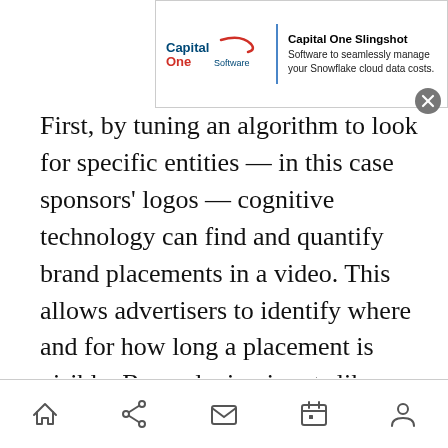[Figure (screenshot): Capital One Slingshot advertisement banner showing the Capital One Software logo and text 'Capital One Slingshot - Software to seamlessly manage your Snowflake cloud data costs.' with a close button.]
First, by tuning an algorithm to look for specific entities — in this case sponsors' logos — cognitive technology can find and quantify brand placements in a video. This allows advertisers to identify where and for how long a placement is visible. By analyzing inputs like social media feeds, commentators' tone of voice, and crowd noise, AI technology can also determine excitement levels. When these are taken together, advertisers can measure the impact of product placement. For instance, brands could determine that 70 percent of a given match's top plays were broadcast with their logo in full view. From here, they could
[Figure (screenshot): Mobile browser bottom navigation bar with home, share, mail, calendar, and profile icons.]